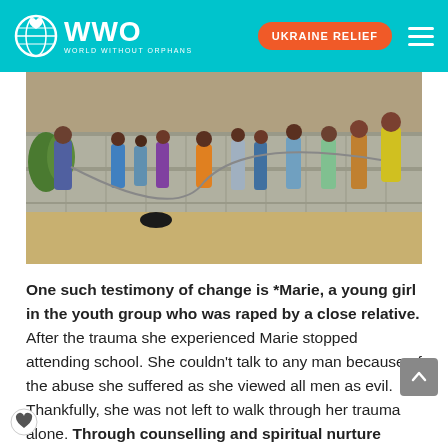WWO World Without Orphans | UKRAINE RELIEF
[Figure (photo): Children playing jump rope outdoors in an African village setting, on sandy ground with a concrete block wall in the background.]
One such testimony of change is *Marie, a young girl in the youth group who was raped by a close relative. After the trauma she experienced Marie stopped attending school. She couldn't talk to any man because of the abuse she suffered as she viewed all men as evil. Thankfully, she was not left to walk through her trauma alone. Through counselling and spiritual nurture offered through the services Reverend Mark's team makes available, Marie has been able to make steps forward in healing from the